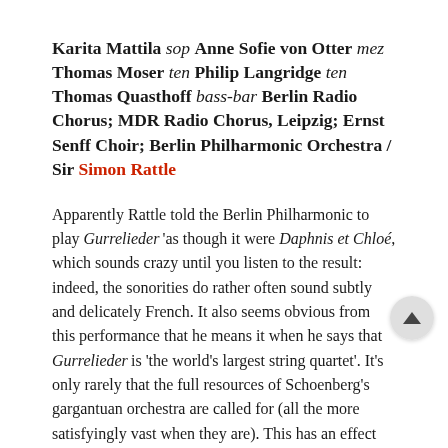Karita Mattila sop Anne Sofie von Otter mez Thomas Moser ten Philip Langridge ten Thomas Quasthoff bass-bar Berlin Radio Chorus; MDR Radio Chorus, Leipzig; Ernst Senff Choir; Berlin Philharmonic Orchestra / Sir Simon Rattle
Apparently Rattle told the Berlin Philharmonic to play Gurrelieder 'as though it were Daphnis et Chloé, which sounds crazy until you listen to the result: indeed, the sonorities do rather often sound subtly and delicately French. It also seems obvious from this performance that he means it when he says that Gurrelieder is 'the world's largest string quartet'. It's only rarely that the full resources of Schoenberg's gargantuan orchestra are called for (all the more satisfyingly vast when they are). This has an effect on the soloists: none is required to force. Karita Mattila gains from this intimate approach, floating over exquisite orchestral textures in her first